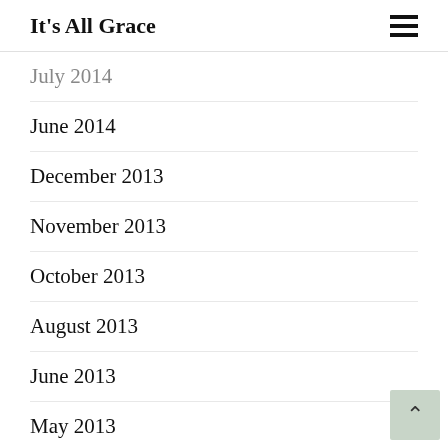It's All Grace
July 2014
June 2014
December 2013
November 2013
October 2013
August 2013
June 2013
May 2013
April 2013
March 2013
February 2013